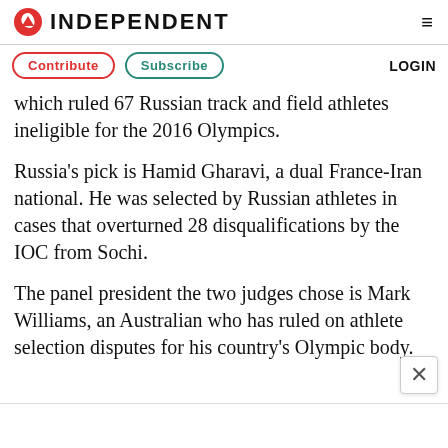INDEPENDENT
Contribute   Subscribe   LOGIN
which ruled 67 Russian track and field athletes ineligible for the 2016 Olympics.
Russia's pick is Hamid Gharavi, a dual France-Iran national. He was selected by Russian athletes in cases that overturned 28 disqualifications by the IOC from Sochi.
The panel president the two judges chose is Mark Williams, an Australian who has ruled on athlete selection disputes for his country's Olympic body.